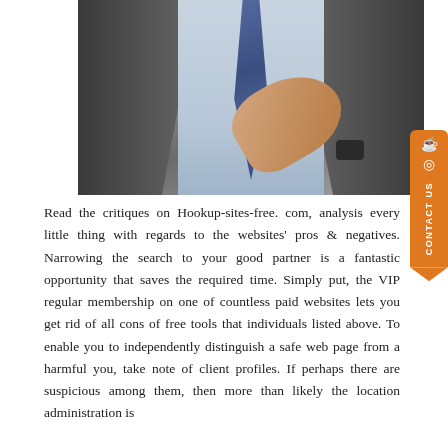[Figure (photo): A man in a dark suit and blue tie making a hand gesture, with a watch visible on his wrist, photographed from chest level.]
Read the critiques on Hookup-sites-free. com, analysis every little thing with regards to the websites' pros & negatives. Narrowing the search to your good partner is a fantastic opportunity that saves the required time. Simply put, the VIP regular membership on one of countless paid websites lets you get rid of all cons of free tools that individuals listed above. To enable you to independently distinguish a safe web page from a harmful you, take note of client profiles. If perhaps there are suspicious among them, then more than likely the location administration is